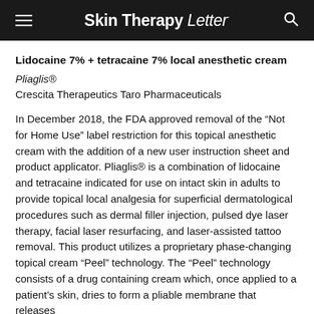Skin Therapy Letter
Lidocaine 7% + tetracaine 7% local anesthetic cream
Pliaglis®
Crescita Therapeutics Taro Pharmaceuticals
In December 2018, the FDA approved removal of the “Not for Home Use” label restriction for this topical anesthetic cream with the addition of a new user instruction sheet and product applicator. Pliaglis® is a combination of lidocaine and tetracaine indicated for use on intact skin in adults to provide topical local analgesia for superficial dermatological procedures such as dermal filler injection, pulsed dye laser therapy, facial laser resurfacing, and laser-assisted tattoo removal. This product utilizes a proprietary phase-changing topical cream “Peel” technology. The “Peel” technology consists of a drug containing cream which, once applied to a patient’s skin, dries to form a pliable membrane that releases